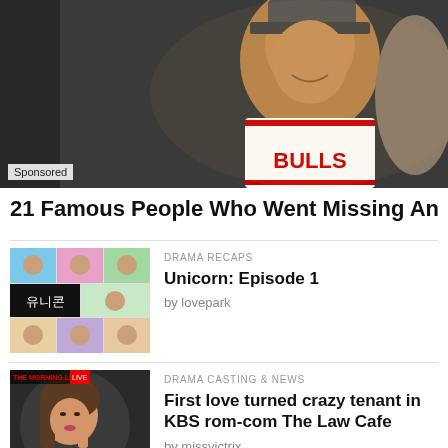[Figure (photo): Man wearing a Chicago Bulls basketball jersey and backwards cap, smiling, with another person partially visible on the right. 'Sponsored' label in bottom-left corner.]
21 Famous People Who Went Missing And Were
[Figure (photo): TV show thumbnail for 'Unicorn' (유니콘) Korean drama showing a grid of cast members with the show title in Korean characters.]
DRAMA RECAPS
Unicorn: Episode 1
by lovepark
[Figure (photo): A young Korean woman holding her hand to her face, from a TV show or interview. Text overlay in top-left corner.]
DRAMA CASTING & NEWS
First love turned crazy tenant in KBS rom-com The Law Cafe
by missvictrix